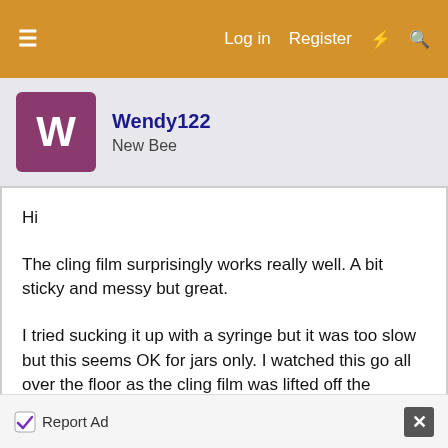≡  Log in  Register  ⚡  🔍
Wendy122
New Bee
Hi

The cling film surprisingly works really well. A bit sticky and messy but great.

I tried sucking it up with a syringe but it was too slow but this seems OK for jars only. I watched this go all over the floor as the cling film was lifted off the bucket.

Martin does similar but seems to make more mess than it is worth but then you blokes are not as tidy as
Report Ad